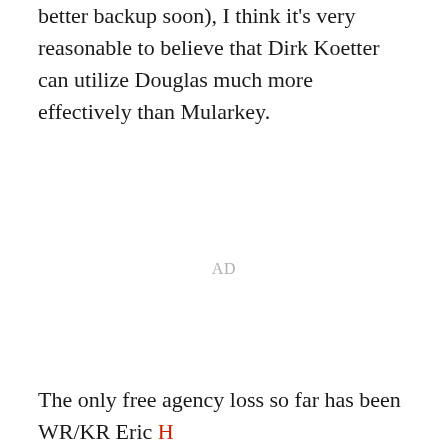better backup soon), I think it's very reasonable to believe that Dirk Koetter can utilize Douglas much more effectively than Mularkey.
AD
The only free agency loss so far has been WR/KR Eric